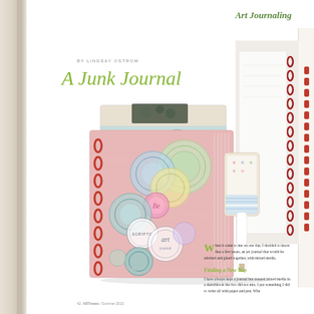Art Journaling
BY LINDSAY OSTROM
A Junk Journal
[Figure (photo): A handmade junk journal with a pink/red spiral binding, decorated cover with overlapping hand-drawn circles in pastel colors (blue, green, pink, yellow), a fabric/paper pocket at top with floral paper, hanging tags on the right side with pattern paper.]
[Figure (photo): Partial view of another journal page on the right edge showing a spiral-bound notebook with red binding.]
Finding a New Way
When it came to me on one day, I decided to know that a few years, an art journal that would be stitched and glued together, with mixed media.
I have always kept a journal but created mixed media in a sketchbook the two did not mix. I put something I did to write all with paper and pen. Whe
42  ARTnews / Summer 2015